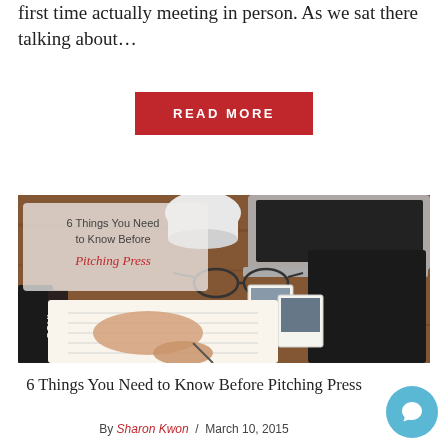first time actually meeting in person. As we sat there talking about…
[Figure (other): Red button with white uppercase text reading READ MORE]
[Figure (photo): Photo of a person writing in a notebook at a wooden desk with a laptop, glasses, Polaroid photos, a coffee cup, and a book titled SOUL. Overlay text reads: 6 Things You Need to Know Before Pitching Press (with 'Pitching Press' in red script).]
6 Things You Need to Know Before Pitching Press
By Sharon Kwon / March 10, 2015